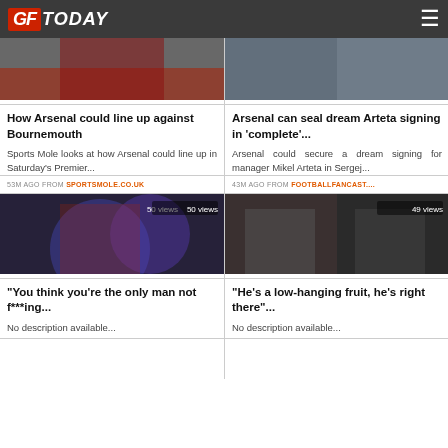GFToday
[Figure (photo): Arsenal player photo top-left news card]
How Arsenal could line up against Bournemouth
Sports Mole looks at how Arsenal could line up in Saturday's Premier...
53M AGO FROM SPORTSMOLE.CO.UK
[Figure (photo): Arsenal/City player photo top-right news card]
Arsenal can seal dream Arteta signing in 'complete'...
Arsenal could secure a dream signing for manager Mikel Arteta in Sergej...
43M AGO FROM FOOTBALLFANCAST....
[Figure (photo): Young Arsenal player photo, 50 views]
“You think you’re the only man not f***ing...
No description available...
[Figure (photo): Ten Hag and Arteta side-by-side photo, 49 views]
“He’s a low-hanging fruit, he’s right there”...
No description available...